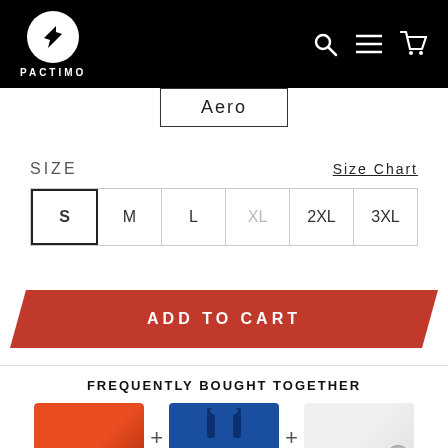PACTIMO
Aero
SIZE   Size Chart
S  M  L  XL  2XL  3XL
ADD TO CART
FREQUENTLY BOUGHT TOGETHER
[Figure (photo): Three cycling product thumbnails: orange jersey, blue bib shorts, white base layer vest with a plus sign between each]